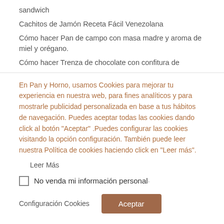sandwich
Cachitos de Jamón Receta Fácil Venezolana
Cómo hacer Pan de campo con masa madre y aroma de miel y orégano.
Cómo hacer Trenza de chocolate con confitura de
En Pan y Horno, usamos Cookies para mejorar tu experiencia en nuestra web, para fines analíticos y para mostrarle publicidad personalizada en base a tus hábitos de navegación. Puedes aceptar todas las cookies dando click al botón "Aceptar" .Puedes configurar las cookies visitando la opción configuración. También puede leer nuestra Política de cookies haciendo click en "Leer más".
Leer Más
No venda mi información personal
Configuración Cookies
Aceptar